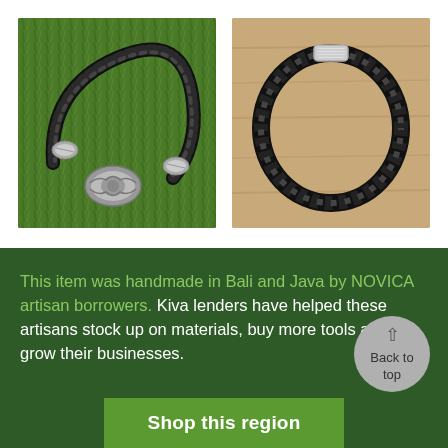[Figure (photo): Black braided leather bracelet with ornate silver clasp and bead accents, displayed on green grass background]
[Figure (photo): Black braided/woven leather bracelet forming a simple loop with a silver tube clasp, displayed on wooden surface]
This item was handmade in Bali and Java by NOVICA artisan borrowers. Kiva lenders have helped these artisans stock up on materials, buy more tools and grow their businesses.
Back to top
Shop this region